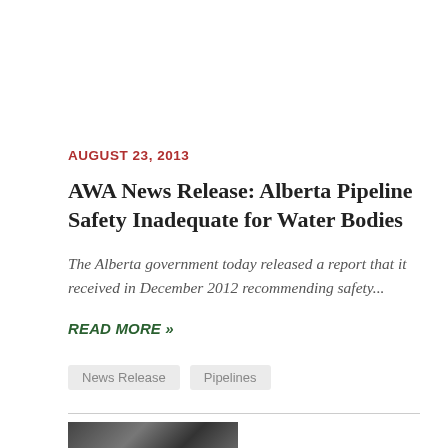AUGUST 23, 2013
AWA News Release: Alberta Pipeline Safety Inadequate for Water Bodies
The Alberta government today released a report that it received in December 2012 recommending safety...
READ MORE »
News Release
Pipelines
[Figure (photo): Partial view of a landscape or environmental photo at the bottom of the page]